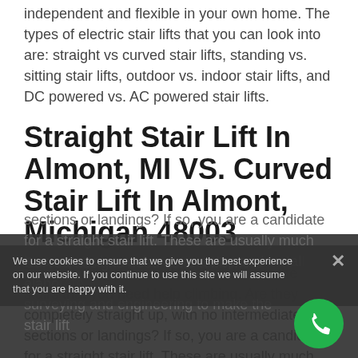independent and flexible in your own home. The types of electric stair lifts that you can look into are: straight vs curved stair lifts, standing vs. sitting stair lifts, outdoor vs. indoor stair lifts, and DC powered vs. AC powered stair lifts.
Straight Stair Lift In Almont, MI VS. Curved Stair Lift In Almont, Michigan 48003
The first thing you need to consider are the stairs that you need help climbing. Are they completely straight up, with no intermediate flat sections or landings? If so, you are a candidate for a straight stair lift. These are usually much less expensive and easier to setup and install. Curved designs need quite a bit more elaborate surveying and engineering to make the stair lift
We use cookies to ensure that we give you the best experience on our website. If you continue to use this site we will assume that you are happy with it.